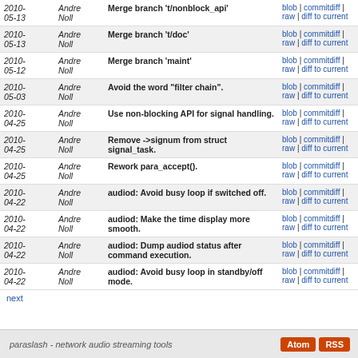| Date | Author | Commit Message | Links |
| --- | --- | --- | --- |
| 2010-05-13 | Andre Noll | Merge branch 't/nonblock_api' | blob | commitdiff | raw | diff to current |
| 2010-05-13 | Andre Noll | Merge branch 't/doc' | blob | commitdiff | raw | diff to current |
| 2010-05-12 | Andre Noll | Merge branch 'maint' | blob | commitdiff | raw | diff to current |
| 2010-05-03 | Andre Noll | Avoid the word "filter chain". | blob | commitdiff | raw | diff to current |
| 2010-04-25 | Andre Noll | Use non-blocking API for signal handling. | blob | commitdiff | raw | diff to current |
| 2010-04-25 | Andre Noll | Remove ->signum from struct signal_task. | blob | commitdiff | raw | diff to current |
| 2010-04-25 | Andre Noll | Rework para_accept(). | blob | commitdiff | raw | diff to current |
| 2010-04-22 | Andre Noll | audiod: Avoid busy loop if switched off. | blob | commitdiff | raw | diff to current |
| 2010-04-22 | Andre Noll | audiod: Make the time display more smooth. | blob | commitdiff | raw | diff to current |
| 2010-04-22 | Andre Noll | audiod: Dump audiod status after command execution. | blob | commitdiff | raw | diff to current |
| 2010-04-22 | Andre Noll | audiod: Avoid busy loop in standby/off mode. | blob | commitdiff | raw | diff to current |
next
paraslash - network audio streaming tools